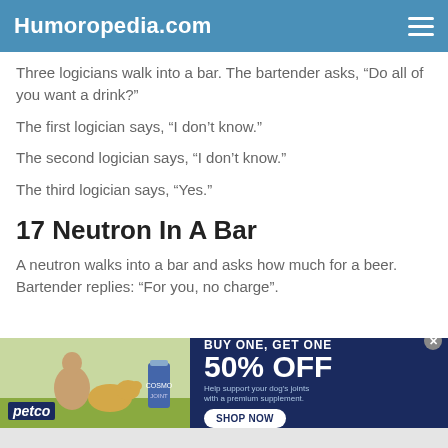Humoropedia.com
Three logicians walk into a bar. The bartender asks, “Do all of you want a drink?”
The first logician says, “I don’t know.”
The second logician says, “I don’t know.”
The third logician says, “Yes.”
17 Neutron In A Bar
A neutron walks into a bar and asks how much for a beer. Bartender replies: “For you, no charge”.
[Figure (infographic): Petco advertisement banner: BUY ONE, GET ONE 50% OFF. Help support your dog’s joints with a premium supplement. SHOP NOW button. Image of woman with a golden retriever dog and supplement product.]